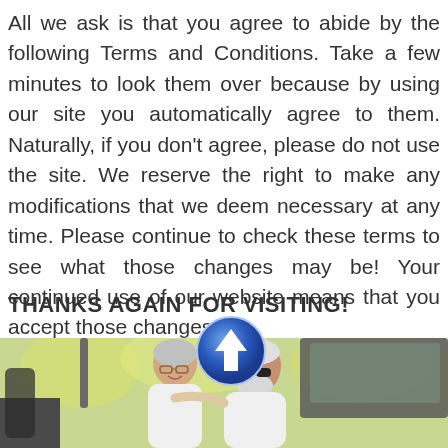All we ask is that you agree to abide by the following Terms and Conditions. Take a few minutes to look them over because by using our site you automatically agree to them. Naturally, if you don't agree, please do not use the site. We reserve the right to make any modifications that we deem necessary at any time. Please continue to check these terms to see what those changes may be! Your continued use of our website means that you accept those changes.
THANKS AGAIN FOR VISITING!
[Figure (photo): Two elderly people (a man and a woman) smiling in a golf cart, with a blue circular up-arrow road sign overlaid in the upper-left area of the image. A small ad close button (triangle X) is visible in the top-right corner.]